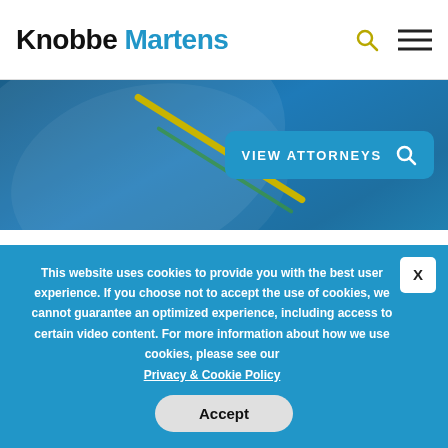Knobbe Martens
[Figure (screenshot): Hero banner with blue gradient background and 'VIEW ATTORNEYS' search button]
Knobbe Martens
Copyright © 2022 Knobbe Martens
All Rights Reserved
This website uses cookies to provide you with the best user experience. If you choose not to accept the use of cookies, we cannot guarantee an optimized experience, including access to certain video content. For more information about how we use cookies, please see our Privacy & Cookie Policy
Accept